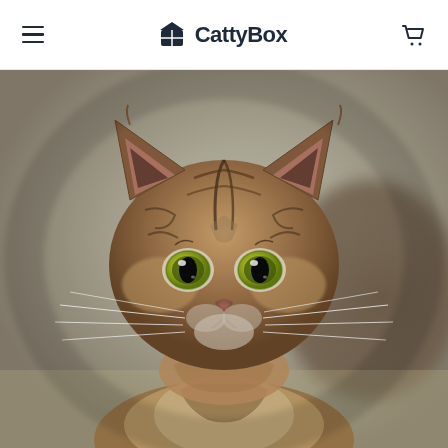CattyBox — navigation header with hamburger menu and cart icon
[Figure (photo): Close-up portrait photo of a fluffy tabby kitten with striking yellow-green eyes, brown and black striped fur, white whiskers, looking directly at the camera against a blurred beige/grey background.]